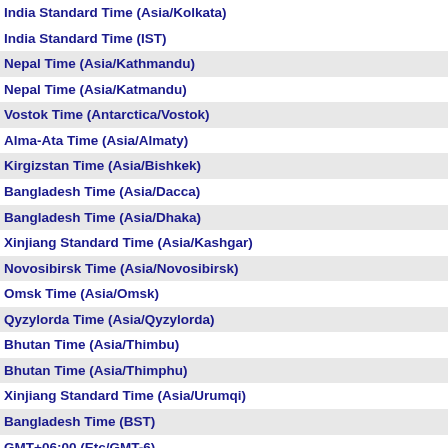India Standard Time (Asia/Kolkata)
India Standard Time (IST)
Nepal Time (Asia/Kathmandu)
Nepal Time (Asia/Katmandu)
Vostok Time (Antarctica/Vostok)
Alma-Ata Time (Asia/Almaty)
Kirgizstan Time (Asia/Bishkek)
Bangladesh Time (Asia/Dacca)
Bangladesh Time (Asia/Dhaka)
Xinjiang Standard Time (Asia/Kashgar)
Novosibirsk Time (Asia/Novosibirsk)
Omsk Time (Asia/Omsk)
Qyzylorda Time (Asia/Qyzylorda)
Bhutan Time (Asia/Thimbu)
Bhutan Time (Asia/Thimphu)
Xinjiang Standard Time (Asia/Urumqi)
Bangladesh Time (BST)
GMT+06:00 (Etc/GMT-6)
Indian Ocean Territory Time (Indian/Chagos)
Myanmar Time (Asia/Rangoon)
Cocos Islands Time (Indian/Cocos)
Davis Time (Antarctica/Davis)
Indochina Time (Asia/Bangkok)
Indochina Time (Asia/Ho_Chi_Minh)
Hovd Time (Asia/Hovd)
West Indonesia Time (Asia/Jakarta)
Krasnoyarsk Time (Asia/Krasnoyarsk)